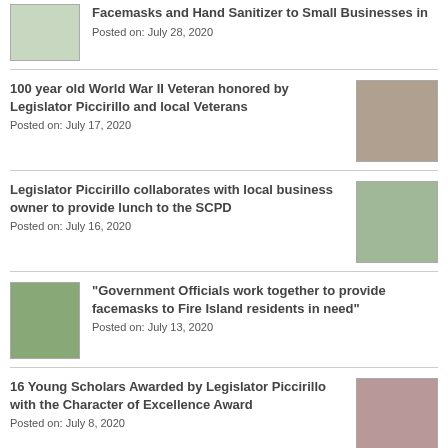[Figure (photo): Two people in masks distributing supplies to small businesses]
Facemasks and Hand Sanitizer to Small Businesses in
Posted on: July 28, 2020
100 year old World War II Veteran honored by Legislator Piccirillo and local Veterans
[Figure (photo): Group of people standing outdoors on a lawn]
Posted on: July 17, 2020
Legislator Piccirillo collaborates with local business owner to provide lunch to the SCPD
[Figure (photo): Group of people standing in front of a gazebo]
Posted on: July 16, 2020
[Figure (photo): Group of people outdoors on a sunny day at Fire Island]
“Government Officials work together to provide facemasks to Fire Island residents in need”
Posted on: July 13, 2020
16 Young Scholars Awarded by Legislator Piccirillo with the Character of Excellence Award
[Figure (photo): Group photo at an award ceremony]
Posted on: July 8, 2020